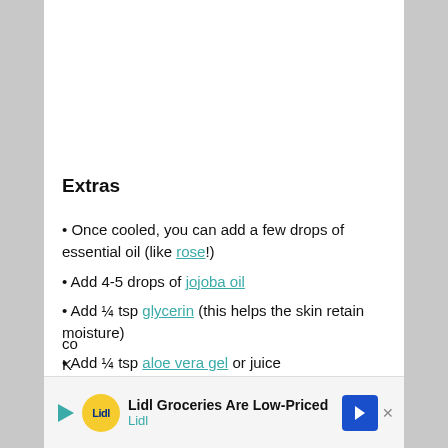Extras
• Once cooled, you can add a few drops of essential oil (like rose!)
• Add 4-5 drops of jojoba oil
• Add ¼ tsp glycerin (this helps the skin retain moisture)
• Add ¼ tsp aloe vera gel or juice
This rose water will keep for 1 week on the co... K...
[Figure (other): Advertisement banner for Lidl Groceries Are Low-Priced with Lidl logo and navigation arrow icon]